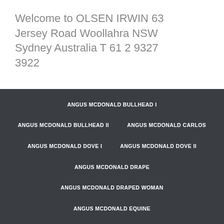Welcome to OLSEN IRWIN 63 Jersey Road Woollahra NSW Sydney Australia T 61 2 9327 3922
ANGUS MCDONALD BULLHEAD I
ANGUS MCDONALD BULLHEAD II
ANGUS MCDONALD CARLOS
ANGUS MCDONALD DOVE I
ANGUS MCDONALD DOVE II
ANGUS MCDONALD DRAPE
ANGUS MCDONALD DRAPED WOMAN
ANGUS MCDONALD EQUINE